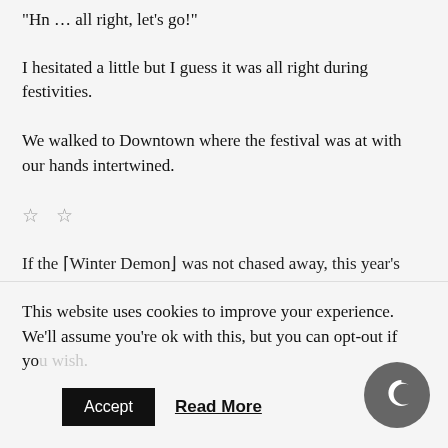“Hn … all right, let’s go!”
I hesitated a little but I guess it was all right during festivities.
We walked to Downtown where the festival was at with our hands intertwined.
☆ ☆
If the “Winter Demon” was not chased away, this year’s
This website uses cookies to improve your experience. We'll assume you're ok with this, but you can opt-out if yo
Accept
Read More